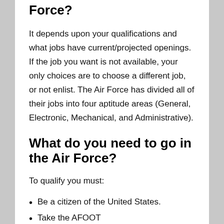Force?
It depends upon your qualifications and what jobs have current/projected openings. If the job you want is not available, your only choices are to choose a different job, or not enlist. The Air Force has divided all of their jobs into four aptitude areas (General, Electronic, Mechanical, and Administrative).
What do you need to go in the Air Force?
To qualify you must:
Be a citizen of the United States.
Take the AFOOT